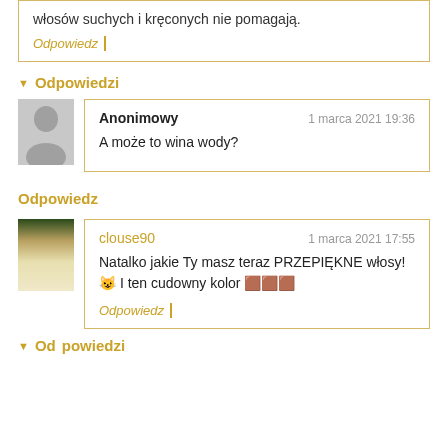włosów suchych i kręconych nie pomagają.
Odpowiedz
Odpowiedzi
Anonimowy — 1 marca 2021 19:36 — A może to wina wody?
Odpowiedz
clouse90 — 1 marca 2021 17:55 — Natalko jakie Ty masz teraz PRZEPIĘKNE włosy! 😺 I ten cudowny kolor 🟫🟫🟫
Odpowiedz
Odpowiedzi